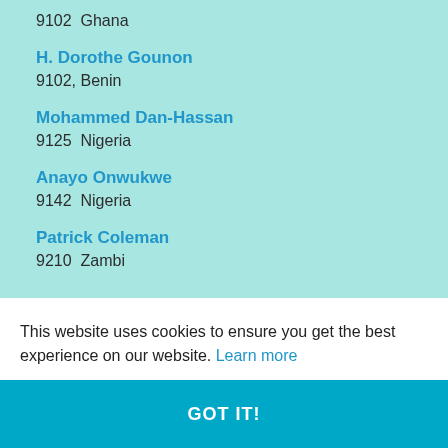9102  Ghana
H. Dorothe Gounon
9102, Benin
Mohammed Dan-Hassan
9125  Nigeria
Anayo Onwukwe
9142  Nigeria
Patrick Coleman
9210  Zambi
This website uses cookies to ensure you get the best experience on our website. Learn more
GOT IT!